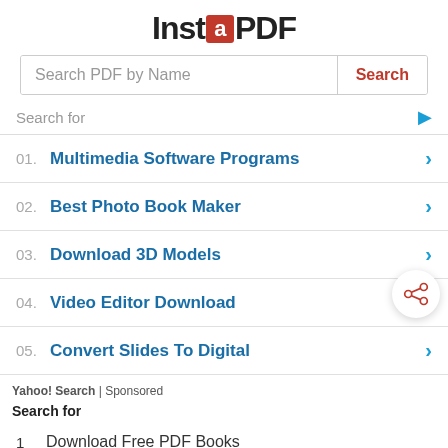InstaPDF
Search PDF by Name
Search for
01. Multimedia Software Programs
02. Best Photo Book Maker
03. Download 3D Models
04. Video Editor Download
05. Convert Slides To Digital
Yahoo! Search | Sponsored
Search for
1  Download Free PDF Books
2  Edit PDF Documents
Yahoo! Search | Sponsored